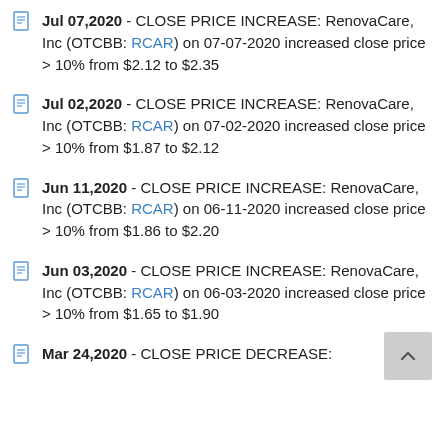Jul 07,2020 - CLOSE PRICE INCREASE: RenovaCare, Inc (OTCBB: RCAR) on 07-07-2020 increased close price > 10% from $2.12 to $2.35
Jul 02,2020 - CLOSE PRICE INCREASE: RenovaCare, Inc (OTCBB: RCAR) on 07-02-2020 increased close price > 10% from $1.87 to $2.12
Jun 11,2020 - CLOSE PRICE INCREASE: RenovaCare, Inc (OTCBB: RCAR) on 06-11-2020 increased close price > 10% from $1.86 to $2.20
Jun 03,2020 - CLOSE PRICE INCREASE: RenovaCare, Inc (OTCBB: RCAR) on 06-03-2020 increased close price > 10% from $1.65 to $1.90
Mar 24,2020 - CLOSE PRICE DECREASE: